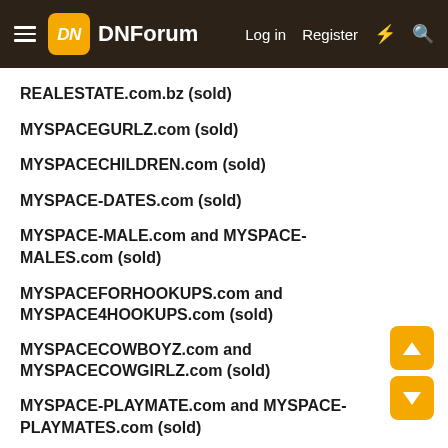DNForum | Log in | Register
REALESTATE.com.bz (sold)
MYSPACEGURLZ.com (sold)
MYSPACECHILDREN.com (sold)
MYSPACE-DATES.com (sold)
MYSPACE-MALE.com and MYSPACE-MALES.com (sold)
MYSPACEFORHOOKUPS.com and MYSPACE4HOOKUPS.com (sold)
MYSPACECOWBOYZ.com and MYSPACECOWGIRLZ.com (sold)
MYSPACE-PLAYMATE.com and MYSPACE-PLAYMATES.com (sold)